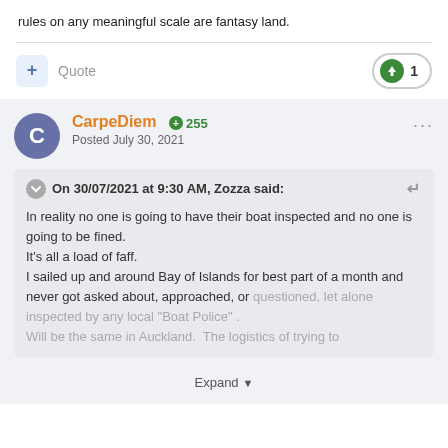rules on any meaningful scale are fantasy land.
Quote
1
CarpeDiem +255 Posted July 30, 2021
On 30/07/2021 at 9:30 AM, Zozza said: In reality no one is going to have their boat inspected and no one is going to be fined. It's all a load of faff. I sailed up and around Bay of Islands for best part of a month and never got asked about, approached, or questioned, let alone inspected by any local "Boat Police" . Will be the same in Auckland. The logistics of trying to
Expand